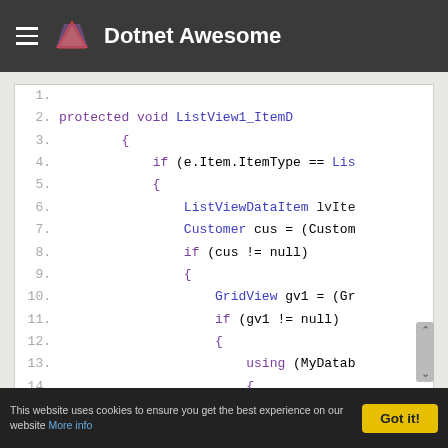Dotnet Awesome
[Figure (screenshot): Code editor screenshot showing C# code for ListView1_ItemD event handler with nested if statements, GridView, and using block. Lines 1-16 visible. Line numbers shown in grey on left.]
This website uses cookies to ensure you get the best experience on our website More info | Got it!